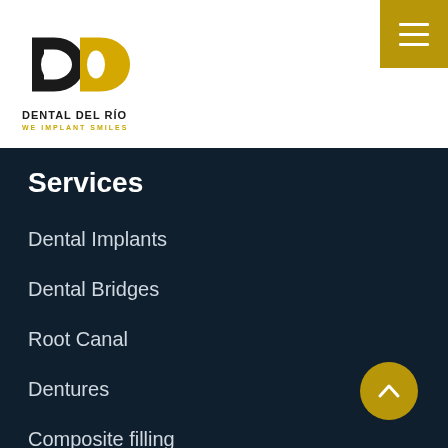[Figure (logo): Dental Del Rio logo with stylized D letters in black and yellow, company name and tagline WE IMPLANT SMILES]
[Figure (other): Hamburger menu button (three horizontal lines) on gold/dark yellow background]
Services
Dental Implants
Dental Bridges
Root Canal
Dentures
Composite filling